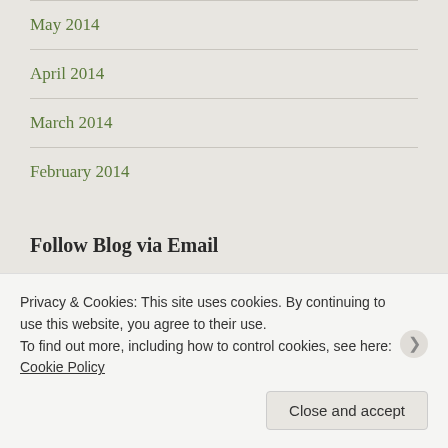May 2014
April 2014
March 2014
February 2014
Follow Blog via Email
Enter your email address to follow this blog and receive notifications of new posts by email.
Email Address
Privacy & Cookies: This site uses cookies. By continuing to use this website, you agree to their use.
To find out more, including how to control cookies, see here: Cookie Policy
Close and accept